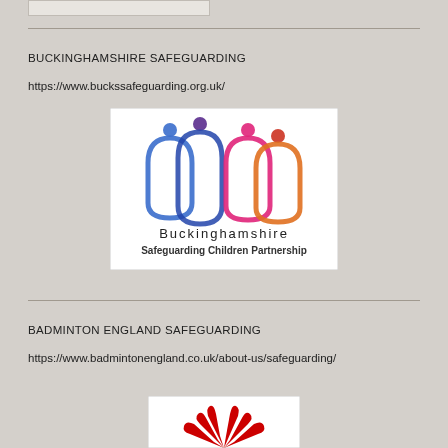BUCKINGHAMSHIRE SAFEGUARDING
https://www.buckssafeguarding.org.uk/
[Figure (logo): Buckinghamshire Safeguarding Children Partnership logo — four stylised human figures in blue, purple, pink and orange/red arches with coloured dot heads, with text 'Buckinghamshire Safeguarding Children Partnership' below]
BADMINTON ENGLAND SAFEGUARDING
https://www.badmintonengland.co.uk/about-us/safeguarding/
[Figure (logo): Badminton England safeguarding logo — partial view showing red splayed hand/shuttlecock graphic on white background]